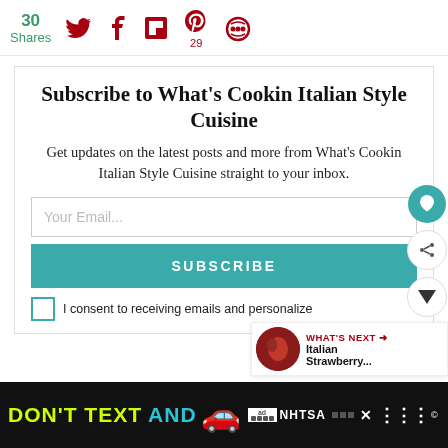30 Shares | Social share icons: Twitter, Facebook, Flipboard, Pinterest (29), other
Subscribe to What's Cookin Italian Style Cuisine
Get updates on the latest posts and more from What's Cookin Italian Style Cuisine straight to your inbox.
Your Email...
SUBSCRIBE
I consent to receiving emails and personalize
WHAT'S NEXT → Italian Strawberry...
[Figure (screenshot): Ad banner: DON'T TEXT AND [car emoji] with NHTSA logo on black background]